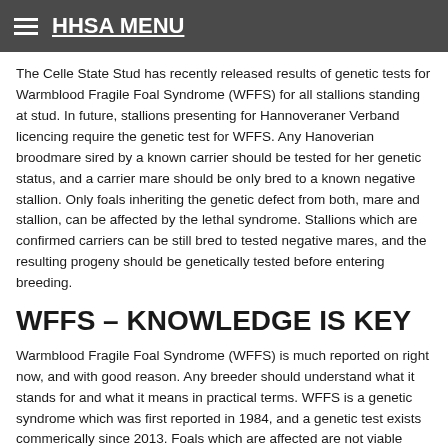HHSA MENU
The Celle State Stud has recently released results of genetic tests for Warmblood Fragile Foal Syndrome (WFFS) for all stallions standing at stud. In future, stallions presenting for Hannoveraner Verband licencing require the genetic test for WFFS. Any Hanoverian broodmare sired by a known carrier should be tested for her genetic status, and a carrier mare should be only bred to a known negative stallion. Only foals inheriting the genetic defect from both, mare and stallion, can be affected by the lethal syndrome. Stallions which are confirmed carriers can be still bred to tested negative mares, and the resulting progeny should be genetically tested before entering breeding.
WFFS – KNOWLEDGE IS KEY
Warmblood Fragile Foal Syndrome (WFFS) is much reported on right now, and with good reason. Any breeder should understand what it stands for and what it means in practical terms. WFFS is a genetic syndrome which was first reported in 1984, and a genetic test exists commerically since 2013. Foals which are affected are not viable (which means they cannot live) but, according to current knowledge, carriers who still have one healthy, not affected gene, are not affected health wise at all, nor are they expected to develop problems later in